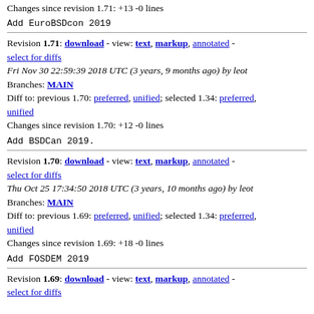Changes since revision 1.71: +13 -0 lines
Add EuroBSDcon 2019
Revision 1.71: download - view: text, markup, annotated - select for diffs
Fri Nov 30 22:59:39 2018 UTC (3 years, 9 months ago) by leot
Branches: MAIN
Diff to: previous 1.70: preferred, unified; selected 1.34: preferred, unified
Changes since revision 1.70: +12 -0 lines
Add BSDCan 2019.
Revision 1.70: download - view: text, markup, annotated - select for diffs
Thu Oct 25 17:34:50 2018 UTC (3 years, 10 months ago) by leot
Branches: MAIN
Diff to: previous 1.69: preferred, unified; selected 1.34: preferred, unified
Changes since revision 1.69: +18 -0 lines
Add FOSDEM 2019
Revision 1.69: download - view: text, markup, annotated - select for diffs